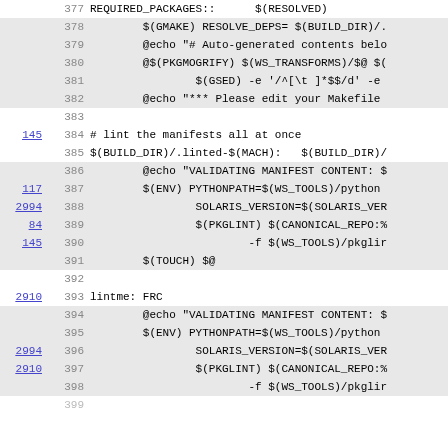Code listing lines 377–399, a Makefile snippet with line numbers and cross-reference links
377  REQUIRED_PACKAGES::      $(RESOLVED)
378          $(GMAKE) RESOLVE_DEPS= $(BUILD_DIR)/.
379          @echo "# Auto-generated contents belo
380          @$(PKGMOGRIFY) $(WS_TRANSFORMS)/$@ $(
381                  $(GSED) -e '/^[\t ]*$$/d' -e
382          @echo "*** Please edit your Makefile
383
384  # lint the manifests all at once
385  $(BUILD_DIR)/.linted-$(MACH):   $(BUILD_DIR)/
386          @echo "VALIDATING MANIFEST CONTENT: $
387          $(ENV) PYTHONPATH=$(WS_TOOLS)/python
388                  SOLARIS_VERSION=$(SOLARIS_VER
389                  $(PKGLINT) $(CANONICAL_REPO:%
390                          -f $(WS_TOOLS)/pkglir
391          $(TOUCH) $@
392
393  lintme: FRC
394          @echo "VALIDATING MANIFEST CONTENT: $
395          $(ENV) PYTHONPATH=$(WS_TOOLS)/python
396                  SOLARIS_VERSION=$(SOLARIS_VER
397                  $(PKGLINT) $(CANONICAL_REPO:%
398                          -f $(WS_TOOLS)/pkglir
399